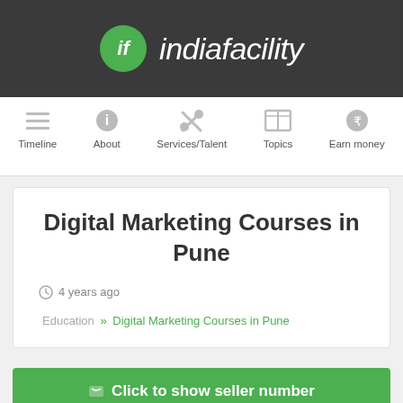[Figure (logo): indiafacility logo with green circle containing 'if' and text 'indiafacility' in white italic font on dark grey background]
Timeline | About | Services/Talent | Topics | Earn money
Digital Marketing Courses in Pune
4 years ago
Education » Digital Marketing Courses in Pune
Click to show seller number